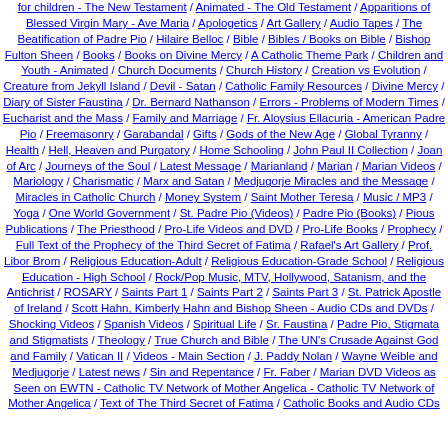for children - The New Testament / Animated - The Old Testament / Apparitions of Blessed Virgin Mary - Ave Maria / Apologetics / Art Gallery / Audio Tapes / The Beatification of Padre Pio / Hilaire Belloc / Bible / Bibles / Books on Bible / Bishop Fulton Sheen / Books / Books on Divine Mercy / A Catholic Theme Park / Children and Youth - Animated / Church Documents / Church History / Creation vs Evolution / Creature from Jekyll Island / Devil - Satan / Catholic Family Resources / Divine Mercy / Diary of Sister Faustina / Dr. Bernard Nathanson / Errors - Problems of Modern Times / Eucharist and the Mass / Family and Marriage / Fr. Aloysius Ellacuria - American Padre Pio / Freemasonry / Garabandal / Gifts / Gods of the New Age / Global Tyranny / Health / Hell, Heaven and Purgatory / Home Schooling / John Paul II Collection / Joan of Arc / Journeys of the Soul / Latest Message / Marianland / Marian / Marian Videos / Mariology / Charismatic / Marx and Satan / Medjugorje Miracles and the Message / Miracles in Catholic Church / Money System / Saint Mother Teresa / Music / MP3 / Yoga / One World Government / St. Padre Pio (Videos) / Padre Pio (Books) / Pious Publications / The Priesthood / Pro-Life Videos and DVD / Pro-Life Books / Prophecy / Full Text of the Prophecy of the Third Secret of Fatima / Rafael's Art Gallery / Prof. Libor Brom / Religious Education-Adult / Religious Education-Grade School / Religious Education - High School / Rock/Pop Music, MTV, Hollywood, Satanism, and the Antichrist / ROSARY / Saints Part 1 / Saints Part 2 / Saints Part 3 / St. Patrick Apostle of Ireland / Scott Hahn, Kimberly Hahn and Bishop Sheen - Audio CDs and DVDs / Shocking Videos / Spanish Videos / Spiritual Life / Sr. Faustina / Padre Pio, Stigmata and Stigmatists / Theology / True Church and Bible / The UN's Crusade Against God and Family / Vatican II / Videos - Main Section / J. Paddy Nolan / Wayne Weible and Medjugorje / Latest news / Sin and Repentance / Fr. Faber / Marian DVD Videos as Seen on EWTN - Catholic TV Network of Mother Angelica - Catholic TV Network of Mother Angelica / Text of The Third Secret of Fatima / Catholic Books and Audio CDs